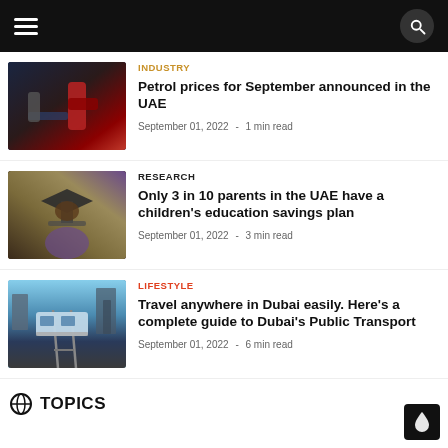Navigation bar with hamburger menu and search icon
[Figure (photo): Close-up of red petrol pump nozzle being inserted into car]
INDUSTRY
Petrol prices for September announced in the UAE
September 01, 2022  -  1 min read
[Figure (photo): Graduate student seen from behind wearing cap and gown]
RESEARCH
Only 3 in 10 parents in the UAE have a children's education savings plan
September 01, 2022  -  3 min read
[Figure (photo): Dubai metro train on elevated tracks with city skyline]
LIFESTYLE
Travel anywhere in Dubai easily. Here's a complete guide to Dubai's Public Transport
September 01, 2022  -  6 min read
TOPICS